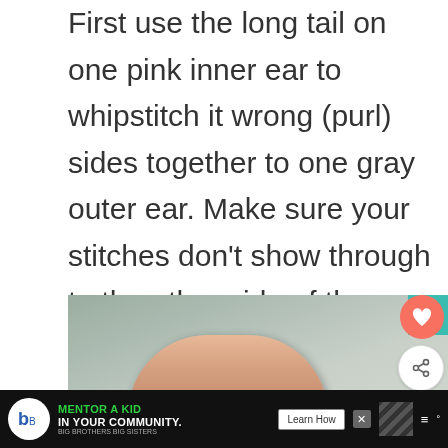First use the long tail on one pink inner ear to whipstitch it wrong (purl) sides together to one gray outer ear. Make sure your stitches don't show through to the other side of the outer ear. Knot the yarn and weave in the end. Repeat with the other ear parts
[Figure (photo): A close-up photo of a hand/finger on a gray knitted fabric surface, with a teal corner visible. UI overlays include a heart button showing 21.9K, a share button, and a 'What's Next' panel showing 'Happy Hippo Hat Knitting...' An advertisement banner for Big Brothers Big Sisters 'Mentor a Kid in Your Community' is visible at the bottom.]